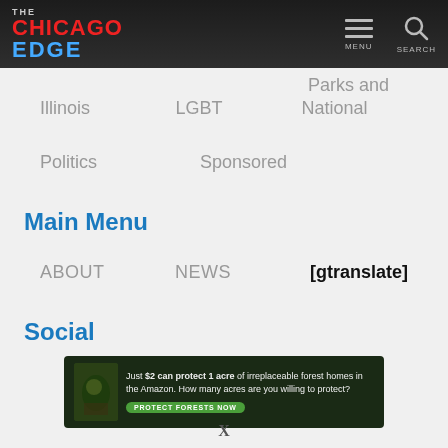THE CHICAGO EDGE — Menu | Search
Illinois
LGBT
National
Parks and Rec
Politics
Sponsored
Main Menu
ABOUT
NEWS
[gtranslate]
Social
[Figure (infographic): Ad banner: Just $2 can protect 1 acre of irreplaceable forest homes in the Amazon. How many acres are you willing to protect? PROTECT FORESTS NOW]